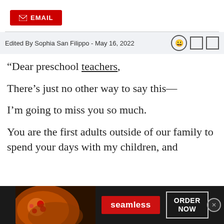[Figure (other): Red EMAIL button with envelope icon]
Edited By Sophia San Filippo - May 16, 2022
“Dear preschool teachers,

There’s just no other way to say this—

I’m going to miss you so much.

You are the first adults outside of our family to spend your days with my children, and
[Figure (other): Seamless food delivery advertisement banner with pizza image, seamless red button, and ORDER NOW bordered button]